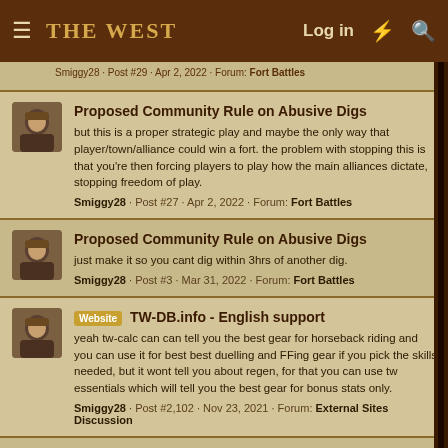THE WEST — Log in
Smiggy28 · Post #29 · Apr 2, 2022 · Forum: Fort Battles
Proposed Community Rule on Abusive Digs
but this is a proper strategic play and maybe the only way that player/town/alliance could win a fort. the problem with stopping this is that you're then forcing players to play how the main alliances dictate, stopping freedom of play.
Smiggy28 · Post #27 · Apr 2, 2022 · Forum: Fort Battles
Proposed Community Rule on Abusive Digs
just make it so you cant dig within 3hrs of another dig.
Smiggy28 · Post #3 · Mar 31, 2022 · Forum: Fort Battles
Website  TW-DB.info - English support
yeah tw-calc can can tell you the best gear for horseback riding and you can use it for best best duelling and FFing gear if you pick the skills needed, but it wont tell you about regen, for that you can use tw essentials which will tell you the best gear for bonus stats only.
Smiggy28 · Post #2,102 · Nov 23, 2021 · Forum: External Sites Discussion
Website  TW-DB.info - English support